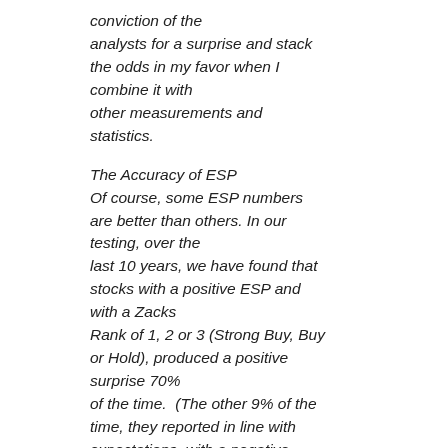conviction of the analysts for a surprise and stack the odds in my favor when I combine it with other measurements and statistics.
The Accuracy of ESP
Of course, some ESP numbers are better than others. In our testing, over the last 10 years, we have found that stocks with a positive ESP and with a Zacks Rank of 1, 2 or 3 (Strong Buy, Buy or Hold), produced a positive surprise 70% of the time.  (The other 9% of the time, they reported in line with expectations, with a negative surprise occurring only 21% of the time.)